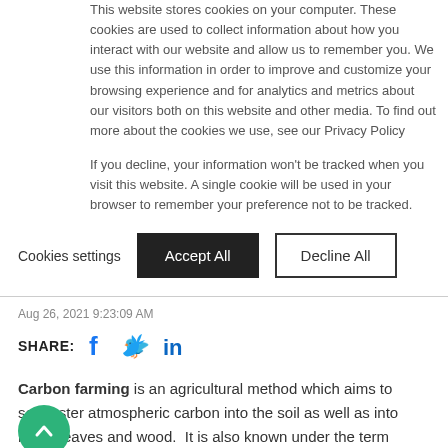This website stores cookies on your computer. These cookies are used to collect information about how you interact with our website and allow us to remember you. We use this information in order to improve and customize your browsing experience and for analytics and metrics about our visitors both on this website and other media. To find out more about the cookies we use, see our Privacy Policy
If you decline, your information won’t be tracked when you visit this website. A single cookie will be used in your browser to remember your preference not to be tracked.
Cookies settings
Accept All
Decline All
Aug 26, 2021 9:23:09 AM
SHARE:
Carbon farming is an agricultural method which aims to sequester atmospheric carbon into the soil as well as into roots, leaves and wood.  It is also known under the term